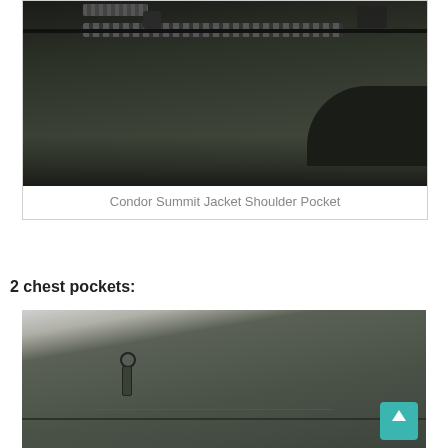[Figure (photo): Close-up photo of the shoulder pocket zipper on a Condor Summit Jacket, showing olive/dark green fabric with zipper teeth and zipper pull]
Condor Summit Jacket Shoulder Pocket
2 chest pockets:
[Figure (photo): Close-up photo of the chest pocket area on a Condor Summit Jacket showing olive/dark green fabric with a zipper pull and pocket seam, with a teal scroll-to-top button in the lower right corner]